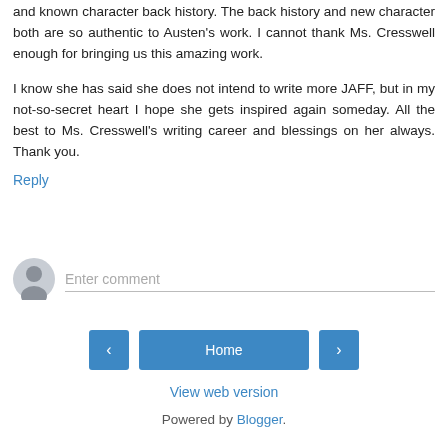and known character back history. The back history and new character both are so authentic to Austen's work. I cannot thank Ms. Cresswell enough for bringing us this amazing work.
I know she has said she does not intend to write more JAFF, but in my not-so-secret heart I hope she gets inspired again someday. All the best to Ms. Cresswell's writing career and blessings on her always. Thank you.
Reply
[Figure (other): Comment input field with user avatar icon]
[Figure (other): Navigation buttons: previous arrow, Home button, next arrow]
View web version
Powered by Blogger.